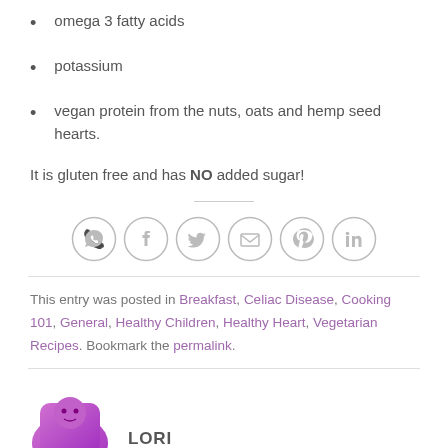omega 3 fatty acids
potassium
vegan protein from the nuts, oats and hemp seed hearts.
It is gluten free and has NO added sugar!
[Figure (infographic): Social sharing icons: WhatsApp, Facebook, Twitter, Email, Pinterest, LinkedIn — each in a light gray circle outline]
This entry was posted in Breakfast, Celiac Disease, Cooking 101, General, Healthy Children, Healthy Heart, Vegetarian Recipes. Bookmark the permalink.
LORI